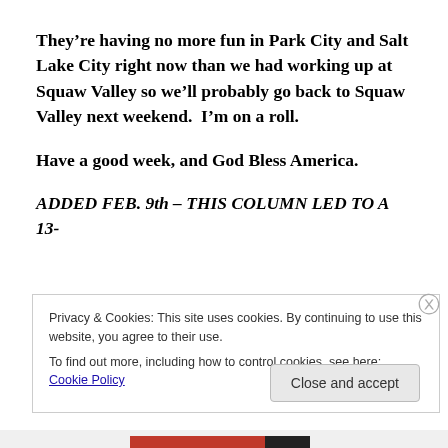They're having no more fun in Park City and Salt Lake City right now than we had working up at Squaw Valley so we'll probably go back to Squaw Valley next weekend.  I'm on a roll.
Have a good week, and God Bless America.
ADDED FEB. 9th – THIS COLUMN LED TO A 13-
Privacy & Cookies: This site uses cookies. By continuing to use this website, you agree to their use.
To find out more, including how to control cookies, see here: Cookie Policy
Close and accept